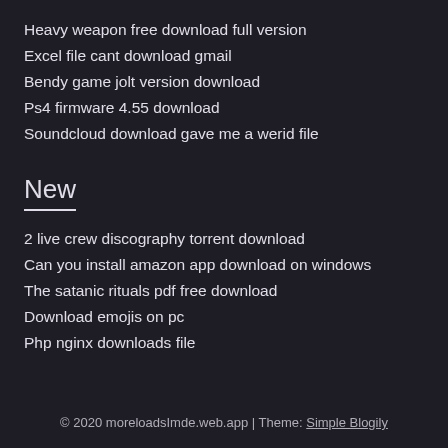Heavy weapon free download full version
Excel file cant download gmail
Bendy game jolt version download
Ps4 firmware 4.55 download
Soundcloud download gave me a werid file
New
2 live crew discography torrent download
Can you install amazon app download on windows
The satanic rituals pdf free download
Download emojis on pc
Php nginx downloads file
© 2020 moreloadsImde.web.app | Theme: Simple Blogily